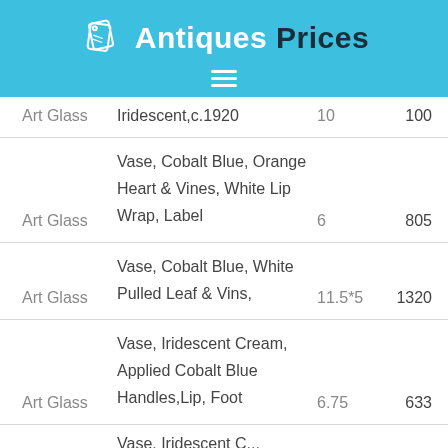Antiques Prices
| Category | Description | Size | Price |
| --- | --- | --- | --- |
| Art Glass | Iridescent,c.1920 | 10 | 100 |
| Art Glass | Vase, Cobalt Blue, Orange Heart & Vines, White Lip Wrap, Label | 6 | 805 |
| Art Glass | Vase, Cobalt Blue, White Pulled Leaf & Vins, | 11.5*5 | 1320 |
| Art Glass | Vase, Iridescent Cream, Applied Cobalt Blue Handles,Lip, Foot | 6.75 | 633 |